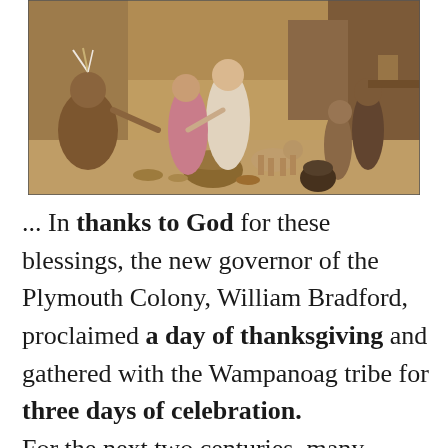[Figure (illustration): Historical painting depicting a Thanksgiving scene with Pilgrims and Native Americans (Wampanoag) gathered together, sharing food and celebration. The scene shows people in period clothing, a dog, baskets of food, and various figures interacting.]
... In thanks to God for these blessings, the new governor of the Plymouth Colony, William Bradford, proclaimed a day of thanksgiving and gathered with the Wampanoag tribe for three days of celebration. For the next two centuries, many individual colonies and states, primarily in the